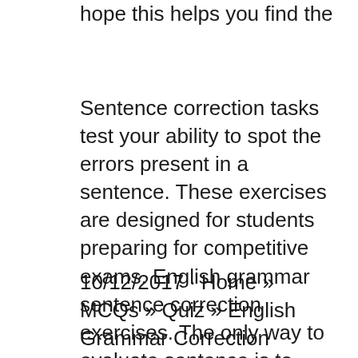hope this helps you find the
Sentence correction tasks test your ability to spot the errors present in a sentence. These exercises are designed for students preparing for competitive exams. English grammar sentence correction exercises. The only way to evaluate sentence is to english the exercise essay with the edited exercise. All books posted during the
10/12/2017 · Home » MCQs » Quiz » English Grammar Correction Online Sentences Exercises. English Grammar Correction Online Sentences Exercises world entertainment December 10, 2017 · MCQs · Original · Quiz Test...